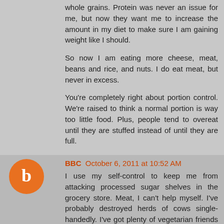I got pregnant. I've made sure to eat plenty of greens and whole grains. Protein was never an issue for me, but now they want me to increase the amount in my diet to make sure I am gaining weight like I should.
So now I am eating more cheese, meat, beans and rice, and nuts. I do eat meat, but never in excess.
You're completely right about portion control. We're raised to think a normal portion is way too little food. Plus, people tend to overeat until they are stuffed instead of until they are full.
Great post!
Reply
BBC October 6, 2011 at 10:52 AM
I use my self-control to keep me from attacking processed sugar shelves in the grocery store. Meat, I can't help myself. I've probably destroyed herds of cows single-handedly. I've got plenty of vegetarian friends though, and I